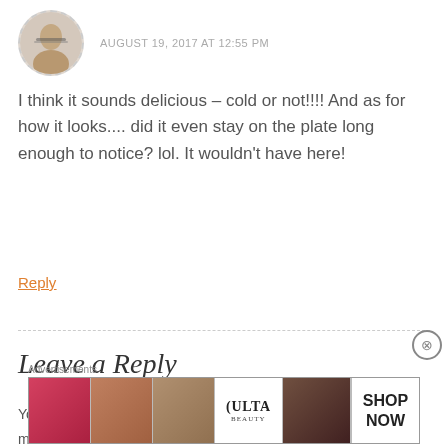[Figure (photo): Circular avatar photo of a person with glasses, with dashed border; beside it the date/time stamp AUGUST 19, 2017 AT 12:55 PM in small gray caps]
I think it sounds delicious – cold or not!!!! And as for how it looks.... did it even stay on the plate long enough to notice? lol. It wouldn't have here!
Reply
Leave a Reply
Your email address will not be published. Required fields are marked *
[Figure (other): Advertisement banner: Ulta Beauty ad with makeup imagery and SHOP NOW button]